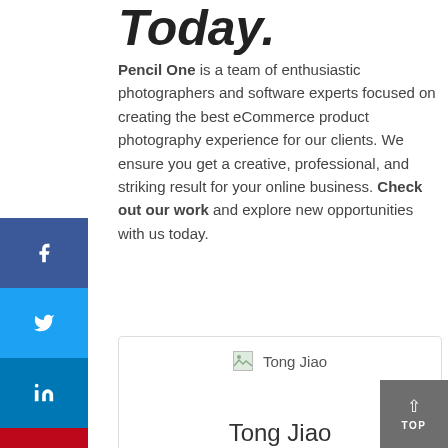Today.
Pencil One is a team of enthusiastic photographers and software experts focused on creating the best eCommerce product photography experience for our clients. We ensure you get a creative, professional, and striking result for your online business. Check out our work and explore new opportunities with us today.
[Figure (other): Profile card for Tong Jiao with a broken image placeholder, name heading, and partial description text 'Tong is an expert in creating images that']